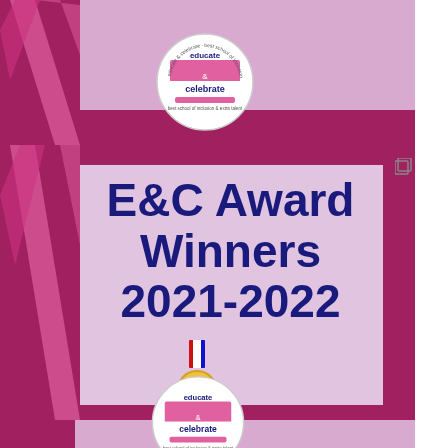[Figure (illustration): Cover page for E&C Award Winners 2021-2022 with educate & celebrate logo, decorative stripes in pink/magenta and lavender, and a gold medal emoji]
E&C Award Winners 2021-2022